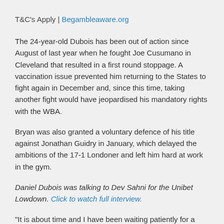T&C's Apply | Begambleaware.org
The 24-year-old Dubois has been out of action since August of last year when he fought Joe Cusumano in Cleveland that resulted in a first round stoppage. A vaccination issue prevented him returning to the States to fight again in December and, since this time, taking another fight would have jeopardised his mandatory rights with the WBA.
Bryan was also granted a voluntary defence of his title against Jonathan Guidry in January, which delayed the ambitions of the 17-1 Londoner and left him hard at work in the gym.
Daniel Dubois was talking to Dev Sahni for the Unibet Lowdown. Click to watch full interview.
"It is about time and I have been waiting patiently for a while," said the former WBA Interim champion, a belt he won by defeating Bogdan Dinu in June last year. "It has